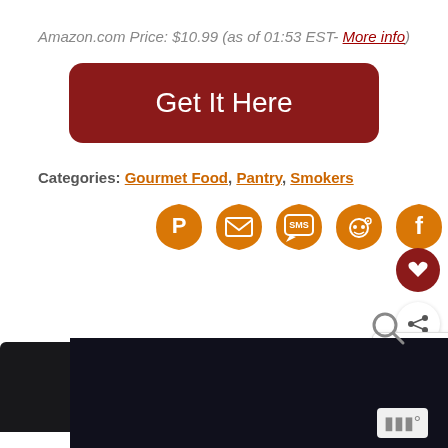Amazon.com Price: $10.99 (as of 01:53 EST- More info)
[Figure (other): Dark red rounded button with white text reading 'Get It Here']
Categories: Gourmet Food, Pantry, Smokers
[Figure (other): Row of five orange social sharing icons: Pinterest, Email, SMS, Reddit, Facebook]
[Figure (other): Sidebar with red heart button, share button, 'WHAT'S NEXT' box showing Santo Tomas Bomba Rice product, magnify icon, and widget icon. Bottom shows dark product image area.]